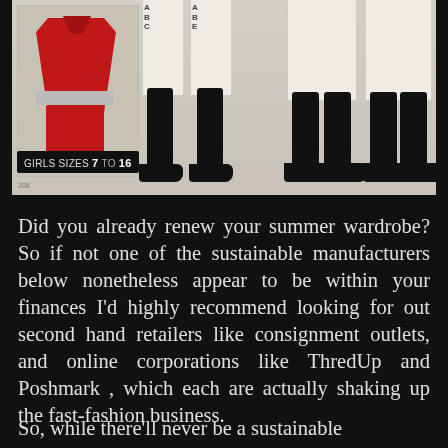[Figure (photo): Vintage catalog image showing girls fashion clothing. On the left is a small photo of a red outfit (jacket and pants). Center and right show black tights/leggings on mannequin legs with white tops labeled A B C and A B E. A banner reads 'GIRLS SIZES 7 TO 16' with a page number 208.]
Did you already renew your summer wardrobe? So if not one of the sustainable manufacturers below nonetheless appear to be within your finances I'd highly recommend looking for out second hand retailers like consignment outlets, and online corporations like ThredUp and Poshmark , which each are actually shaking up the fast-fashion business.
So, while there'll never be a sustainable